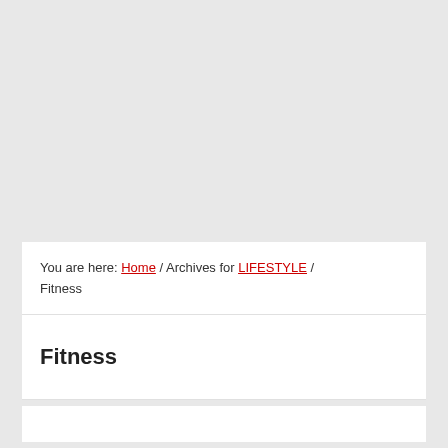You are here: Home / Archives for LIFESTYLE / Fitness
Fitness